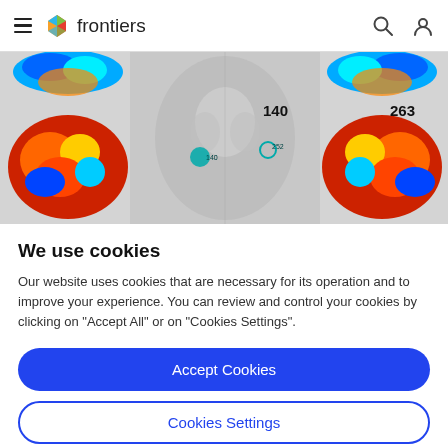frontiers
[Figure (photo): Brain scan image showing colorful brain hemisphere maps (left and right, top and bottom views) alongside a greyscale coronal MRI scan with teal circle markers labeled 140 and 263/252]
We use cookies
Our website uses cookies that are necessary for its operation and to improve your experience. You can review and control your cookies by clicking on "Accept All" or on "Cookies Settings".
Accept Cookies
Cookies Settings